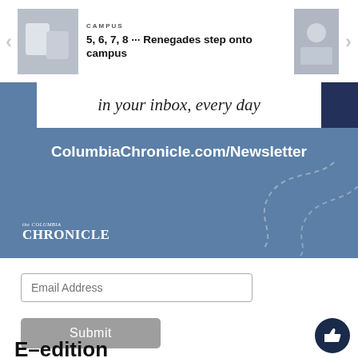CAMPUS
5, 6, 7, 8 ··· Renegades step onto campus
[Figure (screenshot): Newsletter banner with text 'in your inbox, every day' and URL ColumbiaChronicle.com/Newsletter on blue background with Columbia Chronicle logo]
in your inbox, every day
ColumbiaChronicle.com/Newsletter
Email Address
Submit
E-edition